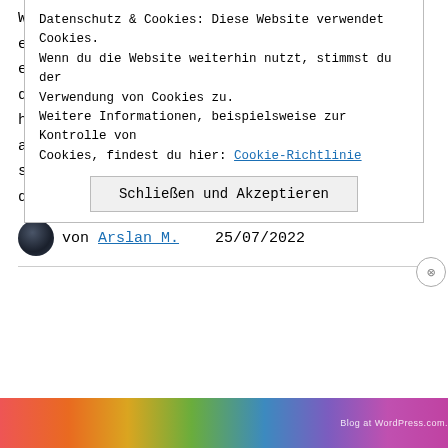Welche Form von Energien entstehen, sobald eine Person eine andere tötet. Hier geht es nicht ums verletzen sondern wirklich demjenigen dessen Leben zu berauben. Ich habe zwar keinen auf der physischen Ebene ausgeknipst aber in der Traumwelt sieht es schon anders aus. Da werden meine Tests durchgeführt und … Weiterlesen
von Arslan_M.   25/07/2022
Datenschutz & Cookies: Diese Website verwendet Cookies. Wenn du die Website weiterhin nutzt, stimmst du der Verwendung von Cookies zu. Weitere Informationen, beispielsweise zur Kontrolle von Cookies, findest du hier: Cookie-Richtlinie
Schließen und Akzeptieren